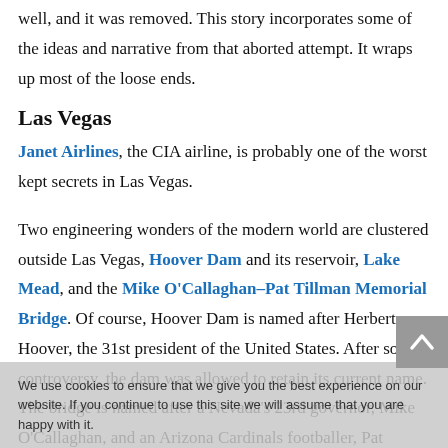well, and it was removed. This story incorporates some of the ideas and narrative from that aborted attempt. It wraps up most of the loose ends.
Las Vegas
Janet Airlines, the CIA airline, is probably one of the worst kept secrets in Las Vegas.
Two engineering wonders of the modern world are clustered outside Las Vegas, Hoover Dam and its reservoir, Lake Mead, and the Mike O'Callaghan–Pat Tillman Memorial Bridge. Of course, Hoover Dam is named after Herbert Hoover, the 31st president of the United States. After some controversy, the dam was allowed to retain its current name. The bridge is named after a Nevada's 23rd governor, Mike O'Callaghan, and an Arizona Cardinals footballer, Pat Tillman, who
We use cookies to ensure that we give you the best experience on our website. If you continue to use this site we will assume that you are happy with it.